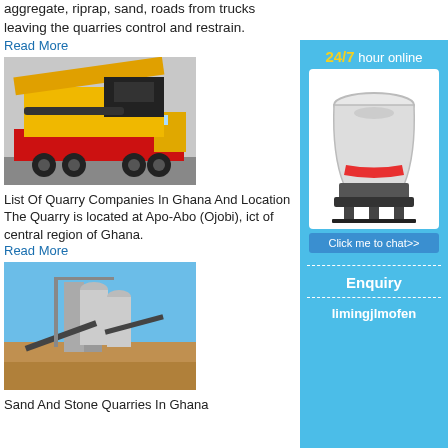aggregate, riprap, sand, roads from trucks leaving the quarries control and restrain.
Read More
[Figure (photo): Yellow heavy machinery on a red flatbed truck]
List Of Quarry Companies In Ghana And Location
The Quarry is located at Apo-Abo (Ojobi), i... ct of central region of Ghana.
Read More
[Figure (photo): Industrial quarry processing plant with silos and conveyor belts against a blue sky]
Sand And Stone Quarries In Ghana
[Figure (infographic): Sidebar ad: 24/7 hour online, cone crusher machine, Click me to chat>>, Enquiry, limingjlmofen]